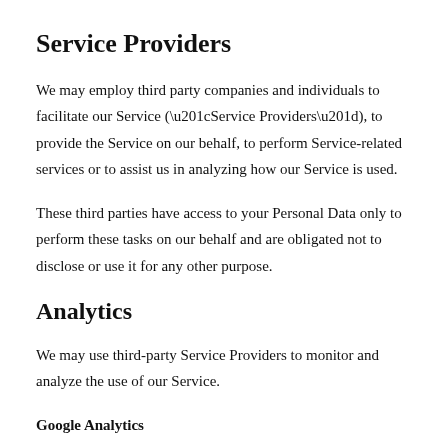Service Providers
We may employ third party companies and individuals to facilitate our Service (“Service Providers”), to provide the Service on our behalf, to perform Service-related services or to assist us in analyzing how our Service is used.
These third parties have access to your Personal Data only to perform these tasks on our behalf and are obligated not to disclose or use it for any other purpose.
Analytics
We may use third-party Service Providers to monitor and analyze the use of our Service.
Google Analytics